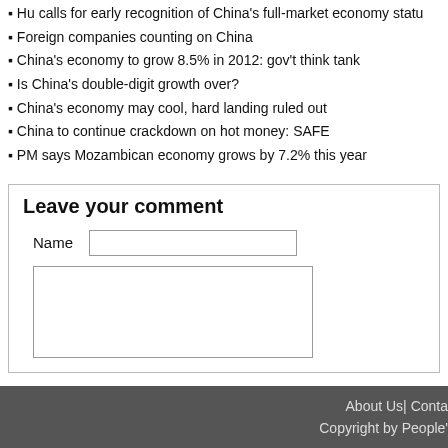▪ Hu calls for early recognition of China's full-market economy status
▪ Foreign companies counting on China
▪ China's economy to grow 8.5% in 2012: gov't think tank
▪ Is China's double-digit growth over?
▪ China's economy may cool, hard landing ruled out
▪ China to continue crackdown on hot money: SAFE
▪ PM says Mozambican economy grows by 7.2% this year
Leave your comment
Name [input field]
[textarea for comment]
Home  Top
About Us| Contact  Copyright by People's